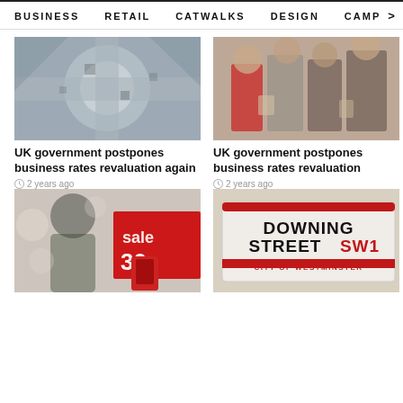BUSINESS    RETAIL    CATWALKS    DESIGN    CAMP  >
[Figure (photo): Aerial view of a shopping centre or public square with people walking in geometric black and white patterns]
UK government postpones business rates revaluation again
2 years ago
[Figure (photo): Group of shoppers walking from behind in a shopping street or mall]
UK government postpones business rates revaluation
2 years ago
[Figure (photo): Blurred image of retail store with a red sale sign showing '30' and shoppers in background]
[Figure (photo): Close-up of a Downing Street SW1 City of Westminster street sign in London]